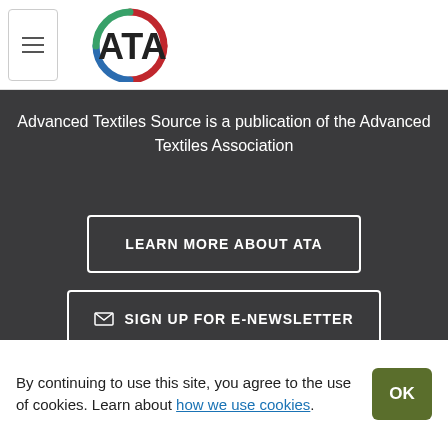[Figure (logo): ATA logo with circular arc in red, blue, and green around the letters ATA]
Advanced Textiles Source is a publication of the Advanced Textiles Association
LEARN MORE ABOUT ATA
✉ SIGN UP FOR E-NEWSLETTER
By continuing to use this site, you agree to the use of cookies. Learn about how we use cookies.